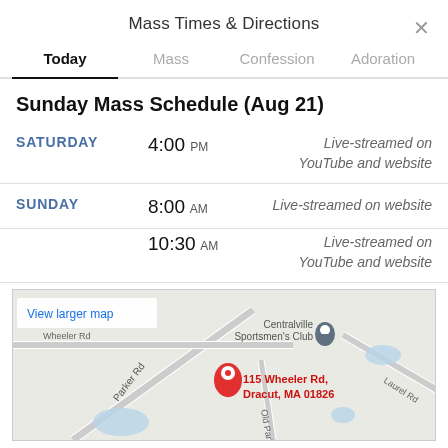Mass Times & Directions
Today  Mass  Confession  Adoration
Sunday Mass Schedule (Aug 21)
| Day | Time | Note |
| --- | --- | --- |
| SATURDAY | 4:00 PM | Live-streamed on YouTube and website |
| SUNDAY | 8:00 AM | Live-streamed on website |
|  | 10:30 AM | Live-streamed on YouTube and website |
[Figure (map): Google Maps showing location at 115 Wheeler Rd, Dracut, MA 01826 with a red map pin. Nearby landmarks include Centralville Sportsmen's Club. Roads visible: Parker Rd, Wheeler Rd, Laurel Rd, Old Parker. 'View larger map' link visible in top-left of map.]